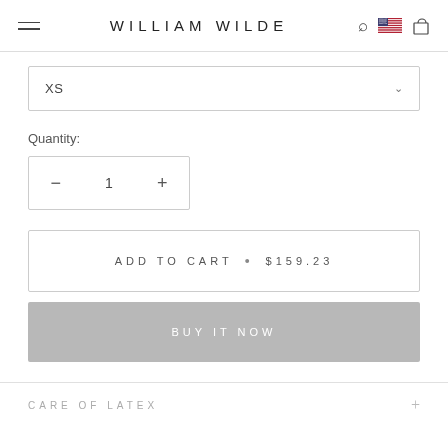WILLIAM WILDE
XS
Quantity:
− 1 +
ADD TO CART • $159.23
BUY IT NOW
CARE OF LATEX